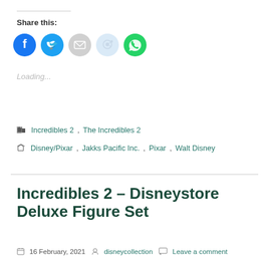Share this:
[Figure (infographic): Five social share icon buttons: Facebook (blue), Twitter (light blue), Email (gray), Reddit (light blue), WhatsApp (green)]
Loading...
Incredibles 2, The Incredibles 2
Disney/Pixar, Jakks Pacific Inc., Pixar, Walt Disney
Incredibles 2 – Disneystore Deluxe Figure Set
16 February, 2021  disneycollection  Leave a comment